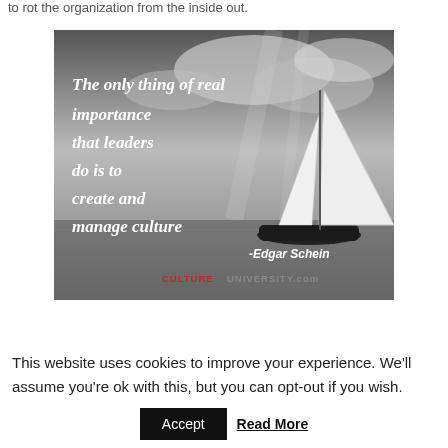to rot the organization from the inside out.
[Figure (illustration): Grayscale photo of a sailboat on open water with dramatic cloudy sky. Overlaid italic white text reads: 'The only thing of real importance that leaders do is to create and manage culture' with bold attribution '-Edgar Schein' and 'CULTUREUNIVERSITY.com' in red/grey text at the bottom.]
This website uses cookies to improve your experience. We'll assume you're ok with this, but you can opt-out if you wish.
Accept  Read More